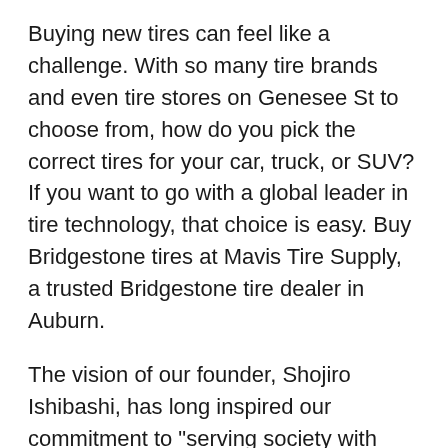Buying new tires can feel like a challenge. With so many tire brands and even tire stores on Genesee St to choose from, how do you pick the correct tires for your car, truck, or SUV? If you want to go with a global leader in tire technology, that choice is easy. Buy Bridgestone tires at Mavis Tire Supply, a trusted Bridgestone tire dealer in Auburn.
The vision of our founder, Shojiro Ishibashi, has long inspired our commitment to "serving society with superior quality." His vision comes to life in every tire we engineer and make, leading to tires that showcase our passion for innovation and excellence. Want to experience innovation on the road? Visit your local Bridgestone tire shop on Genesee St Auburn. Have Bridgestone tires installed on your car, truck, or SUV and take them for a spin. If you're not entirely satisfied with your eligible Bridgestone tires, you can simply return them within 90 days for a complete refund or exchange.* Get to know the types of Bridgestone tires found at 33 E Genesee St in Auburn and call (315)